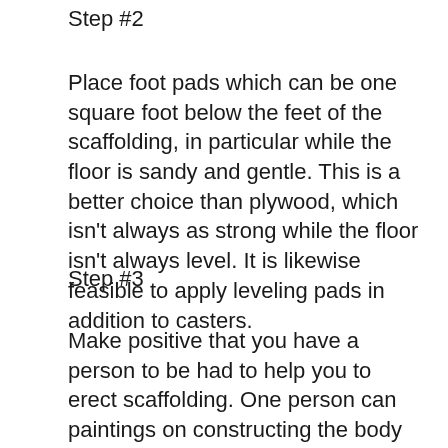Step #2
Place foot pads which can be one square foot below the feet of the scaffolding, in particular while the floor is sandy and gentle. This is a better choice than plywood, which isn't always as strong while the floor isn't always level. It is likewise feasible to apply leveling pads in addition to casters.
Step #3
Make positive that you have a person to be had to help you to erect scaffolding. One person can paintings on constructing the body at the same time as some other can preserve and bypass the desired substances. The individual who is without a doubt